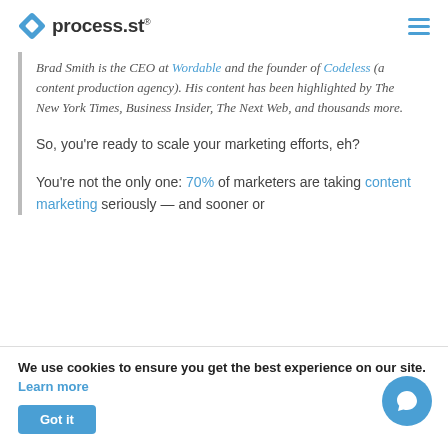process.st
Brad Smith is the CEO at Wordable and the founder of Codeless (a content production agency). His content has been highlighted by The New York Times, Business Insider, The Next Web, and thousands more.
So, you're ready to scale your marketing efforts, eh?
You're not the only one: 70% of marketers are taking content marketing seriously — and sooner or
We use cookies to ensure you get the best experience on our site. Learn more